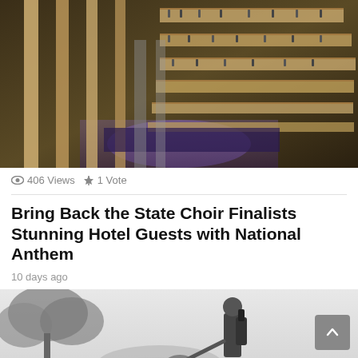[Figure (photo): Aerial view of a large hotel atrium with multiple balcony floors filled with people, purple lighting visible below]
406 Views  1 Vote
Bring Back the State Choir Finalists Stunning Hotel Guests with National Anthem
10 days ago
[Figure (photo): Black and white photo of a person in protective gear/hazmat suit with equipment, outdoors with trees in background]